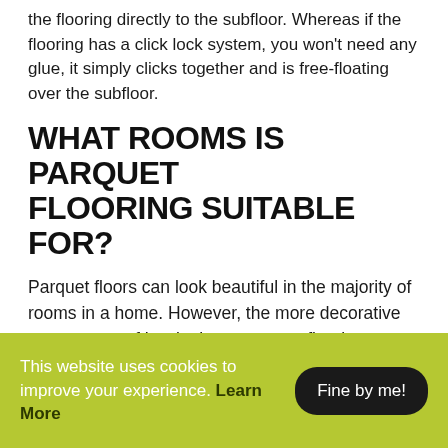the flooring directly to the subfloor. Whereas if the flooring has a click lock system, you won't need any glue, it simply clicks together and is free-floating over the subfloor.
WHAT ROOMS IS PARQUET FLOORING SUITABLE FOR?
Parquet floors can look beautiful in the majority of rooms in a home. However, the more decorative appearance of herringbone parquet flooring means it is especially well-suited to reception rooms and entrance halls.
IS PARQUET FLOORING EXPENSIVE?
This website uses cookies to improve your experience. Learn More
Fine by me!